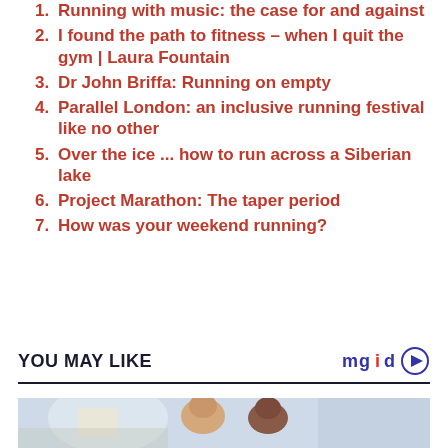Running with music: the case for and against
I found the path to fitness – when I quit the gym | Laura Fountain
Dr John Briffa: Running on empty
Parallel London: an inclusive running festival like no other
Over the ice ... how to run across a Siberian lake
Project Marathon: The taper period
How was your weekend running?
YOU MAY LIKE
[Figure (photo): Two people relaxing, possibly a couple, viewed from above with a blurred indoor background]